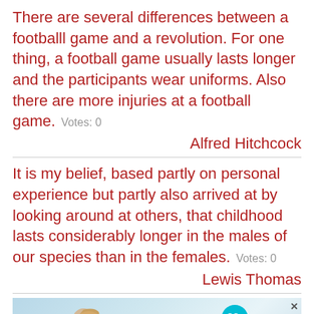There are several differences between a footballl game and a revolution. For one thing, a football game usually lasts longer and the participants wear uniforms. Also there are more injuries at a football game.   Votes: 0
Alfred Hitchcock
It is my belief, based partly on personal experience but partly also arrived at by looking around at others, that childhood lasts considerably longer in the males of our species than in the females.   Votes: 0
Lewis Thomas
[Figure (photo): Advertisement banner showing a woman with long hair and a beauty product, with a teal badge showing '22' and text '37 BEAUTY PRODUCTS WITH SUCH GOOD REVIEWS']